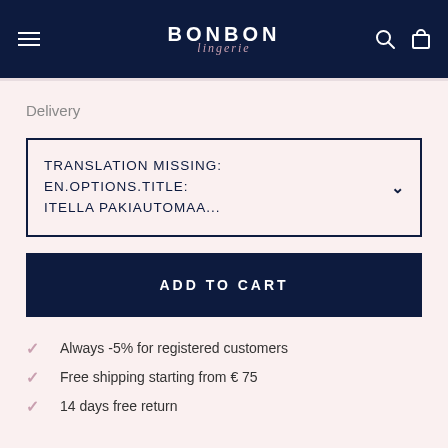BONBON lingerie — navigation header
Delivery
TRANSLATION MISSING: EN.OPTIONS.TITLE: ITELLA PAKIAUTOMAA...
ADD TO CART
Always -5% for registered customers
Free shipping starting from € 75
14 days free return